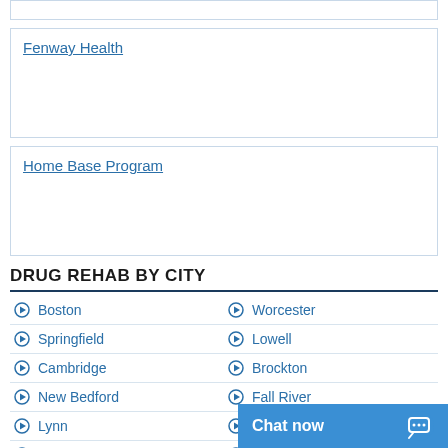(empty card top)
Fenway Health
Home Base Program
DRUG REHAB BY CITY
Boston
Worcester
Springfield
Lowell
Cambridge
Brockton
New Bedford
Fall River
Lynn
Quincy
Somerville
Lawrence
Framingham
Chat now